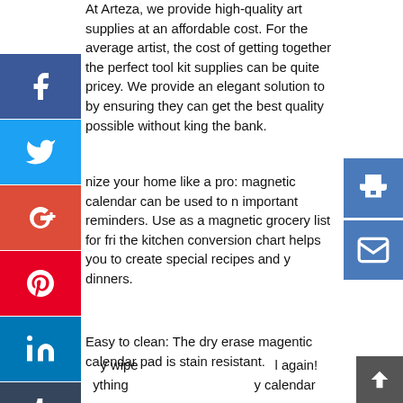At Arteza, we provide high-quality art supplies at an affordable cost. For the average artist, the cost of getting together the perfect tool kit supplies can be quite pricey. We provide an elegant solution to by ensuring they can get the best quality possible without king the bank.
nize your home like a pro: magnetic calendar can be used to n important reminders. Use as a magnetic grocery list for fri the kitchen conversion chart helps you to create special recipes and y dinners.
Easy to clean: The dry erase magentic calendar pad is stain resistant. y wipe l again! ything y calendar 12 in l round nets, ned a ssionate t crea ssion of the huma supplies ssible We Care A e a great experience our customers l of. If you have any i ll make it
[Figure (screenshot): Social media share sidebar with Facebook, Twitter, Google+, Pinterest, LinkedIn, Tumblr, Blogger, Reddit buttons on the left side]
[Figure (screenshot): Right side action buttons: print icon and mail icon in blue]
[Figure (screenshot): Ad overlay showing 'ad 300x250' placeholder in gray with close button]
[Figure (screenshot): Scroll-to-top button in dark gray at bottom right]